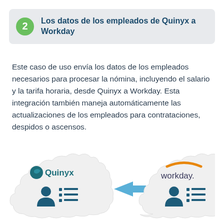2 Los datos de los empleados de Quinyx a Workday
Este caso de uso envía los datos de los empleados necesarios para procesar la nómina, incluyendo el salario y la tarifa horaria, desde Quinyx a Workday. Esta integración también maneja automáticamente las actualizaciones de los empleados para contrataciones, despidos o ascensos.
[Figure (infographic): Two cloud shapes side by side. Left cloud contains Quinyx logo (teal leaf icon + 'Quinyx' text) and below it a person icon with a list icon, both in teal/dark blue. A blue arrow points right to the second cloud. Right cloud contains the Workday logo (orange arc + 'workday.' text) and below it a person icon with a list icon in dark blue.]